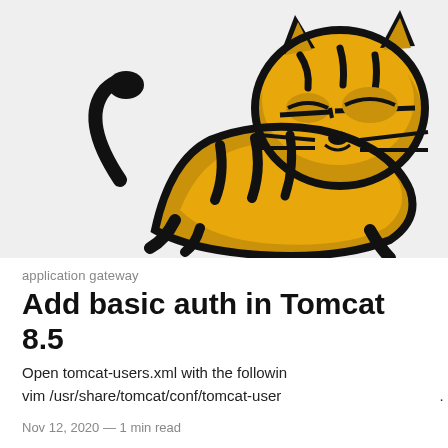[Figure (logo): Apache Tomcat logo — stylized golden cat with black stripes leaping, on a light grey background]
application gateway
Add basic auth in Tomcat 8.5
Open tomcat-users.xml with the following command:
vim /usr/share/tomcat/conf/tomcat-users.xml .
Nov 12, 2020 — 1 min read